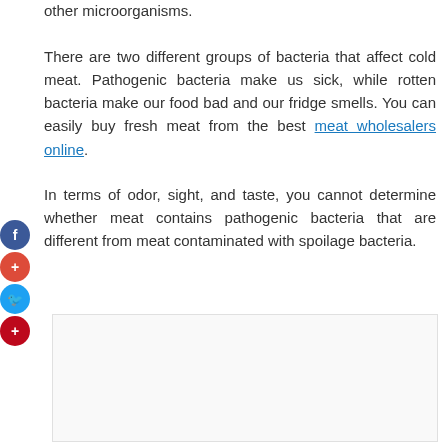other microorganisms.
There are two different groups of bacteria that affect cold meat. Pathogenic bacteria make us sick, while rotten bacteria make our food bad and our fridge smells. You can easily buy fresh meat from the best meat wholesalers online.
In terms of odor, sight, and taste, you cannot determine whether meat contains pathogenic bacteria that are different from meat contaminated with spoilage bacteria.
[Figure (other): Placeholder image box with light border]